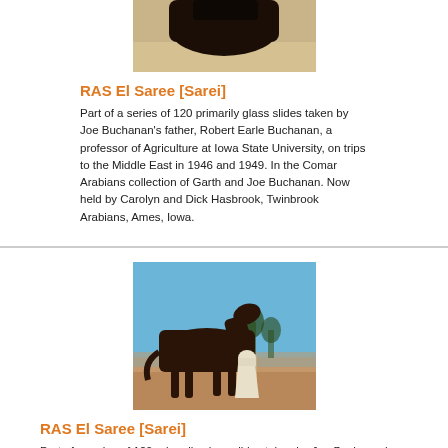[Figure (photo): Close-up photo of a dark horse, cropped at the top of the page, showing the head and upper body area with a sandy/grain background.]
RAS El Saree [Sarei]
Part of a series of 120 primarily glass slides taken by Joe Buchanan's father, Robert Earle Buchanan, a professor of Agriculture at Iowa State University, on trips to the Middle East in 1946 and 1949. In the Comar Arabians collection of Garth and Joe Buchanan. Now held by Carolyn and Dick Hasbrook, Twinbrook Arabians, Ames, Iowa.
[Figure (photo): Photo of a dark Arabian horse standing in profile, held by a person wearing white clothing and a white head covering, with trees and a fence in the background under a blue sky.]
RAS El Saree [Sarei]
Part of a series of 120 primarily glass slides taken by Joe Buchanan's father, Robert Earle Buchanan, a professor of Agriculture at Iowa State University, on trips to the Middle East in 1946 and 1949. In the Comar Arabians collection of